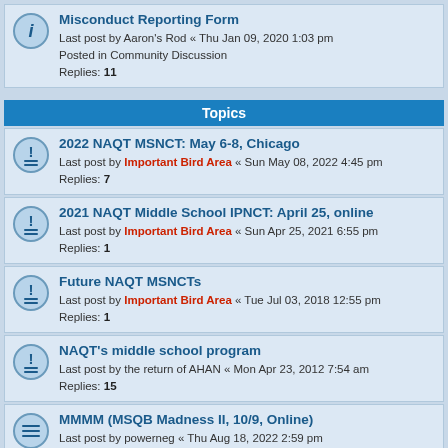Misconduct Reporting Form — Last post by Aaron's Rod « Thu Jan 09, 2020 1:03 pm — Posted in Community Discussion — Replies: 11
Topics
2022 NAQT MSNCT: May 6-8, Chicago — Last post by Important Bird Area « Sun May 08, 2022 4:45 pm — Replies: 7
2021 NAQT Middle School IPNCT: April 25, online — Last post by Important Bird Area « Sun Apr 25, 2021 6:55 pm — Replies: 1
Future NAQT MSNCTs — Last post by Important Bird Area « Tue Jul 03, 2018 12:55 pm — Replies: 1
NAQT's middle school program — Last post by the return of AHAN « Mon Apr 23, 2012 7:54 am — Replies: 15
MMMM (MSQB Madness II, 10/9, Online) — Last post by powerneg « Thu Aug 18, 2022 2:59 pm
KICKOFF Northeast Middle School Mirror (10/1, Online) — Last post by komododragon655 « Mon Aug 15, 2022 9:16 am — Replies: 2
MAKEMAKE National League [Oct-Dec, online] — Last post by CPiGuy « Fri Aug 12, 2022 7:28 pm
Middlebrook Scrim Tournament (MBST) - Online 3/25/22